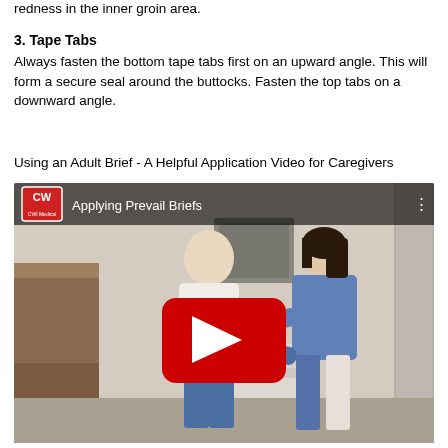redness in the inner groin area.
3. Tape Tabs
Always fasten the bottom tape tabs first on an upward angle. This will form a secure seal around the buttocks. Fasten the top tabs on a downward angle.
Using an Adult Brief  - A Helpful Application Video for Caregivers
[Figure (screenshot): YouTube video thumbnail showing 'Applying Prevail Briefs' with CWI Medical logo. Scene shows a caregiver in blue helping an elderly woman in a bathroom setting. Large red YouTube play button in center.]